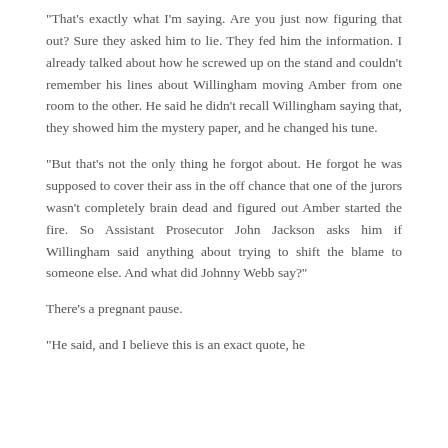"That's exactly what I'm saying. Are you just now figuring that out? Sure they asked him to lie. They fed him the information. I already talked about how he screwed up on the stand and couldn't remember his lines about Willingham moving Amber from one room to the other. He said he didn't recall Willingham saying that, they showed him the mystery paper, and he changed his tune.
"But that's not the only thing he forgot about. He forgot he was supposed to cover their ass in the off chance that one of the jurors wasn't completely brain dead and figured out Amber started the fire. So Assistant Prosecutor John Jackson asks him if Willingham said anything about trying to shift the blame to someone else. And what did Johnny Webb say?"
There's a pregnant pause.
"He said, and I believe this is an exact quote, he